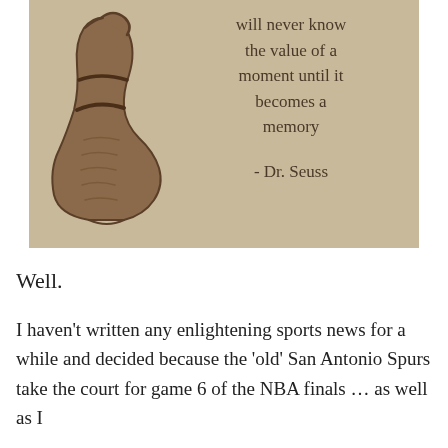[Figure (illustration): Sepia-toned image with a Dr. Seuss illustration on the left side and a quote on the right: 'will never know the value of a moment until it becomes a memory - Dr. Seuss']
Well.
I haven't written any enlightening sports news for a while and decided because the 'old' San Antonio Spurs take the court for game 6 of the NBA finals … as well as I